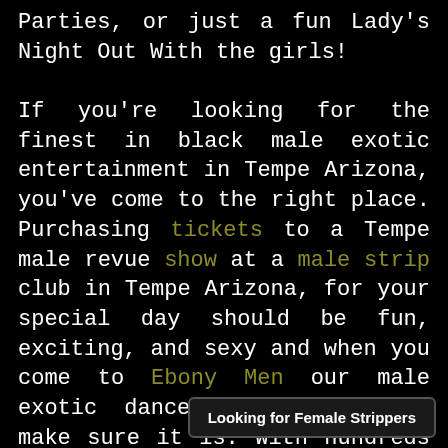Parties, or just a fun Lady's Night Out With the girls!

If you're looking for the finest in black male exotic entertainment in Tempe Arizona, you've come to the right place. Purchasing tickets to a Tempe male revue show at a male strip club in Tempe Arizona, for your special day should be fun, exciting, and sexy and when you come to Ebony Men our male exotic dancers in Tempe, we make sure it is. With hundreds of smoking hot black male strip[pers]
Looking for Female Strippers